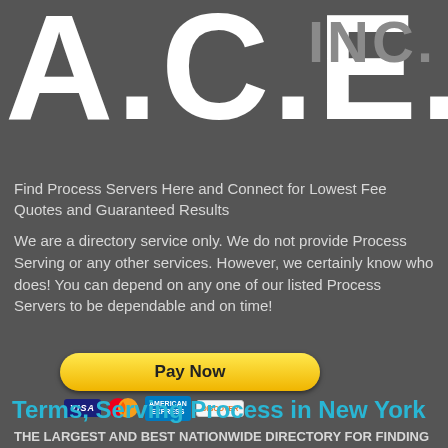A.C.E. INC.
Find Process Servers Here and Connect for Lowest Fee Quotes and Guaranteed Results
We are a directory service only. We do not provide Process Serving or any other services. However, we certainly know who does! You can depend on any one of our listed Process Servers to be dependable and on time!
[Figure (other): PayPal Pay Now button with Visa, Mastercard, American Express, and Discover card icons]
Terms, Serving Process in New York
THE LARGEST AND BEST NATIONWIDE DIRECTORY FOR FINDING PROCESS SERVERS
New York Process Server Terms of Service